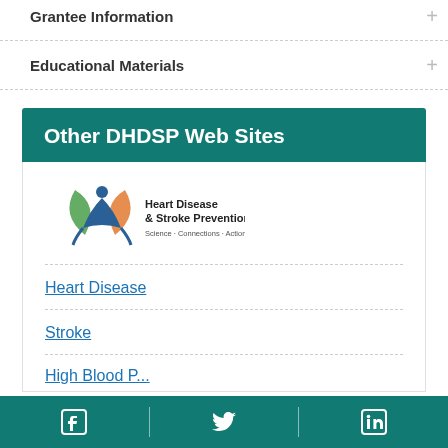Grantee Information
Educational Materials
Other DHDSP Web Sites
[Figure (logo): Heart Disease & Stroke Prevention logo with stylized figure and tagline 'Science · Connections · Action']
Heart Disease
Stroke
High Blood P...
Facebook | Twitter | LinkedIn social media icons